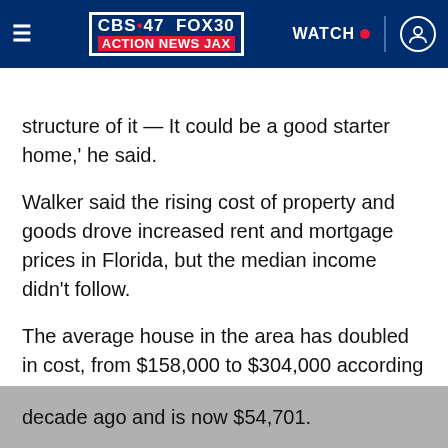[Figure (screenshot): CBS47 FOX30 Action News Jax navigation bar with logo, WATCH button and user icon]
WEATHER ALERT | Flood Warning
structure of it — It could be a good starter home,' he said.
Walker said the rising cost of property and goods drove increased rent and mortgage prices in Florida, but the median income didn't follow.
The average house in the area has doubled in cost, from $158,000 to $304,000 according to the Northeast Flroida Association of Realtors. But the median income hasn't followed the spike.
According to the U.S. Census, it was $50,010 a decade ago and is now $54,701.